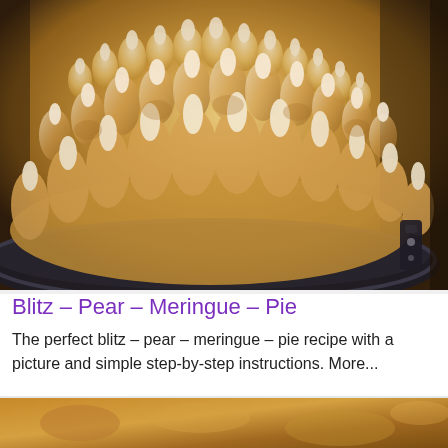[Figure (photo): Close-up photo of a pear meringue pie in a dark springform pan. The top is covered with dozens of golden-brown piped meringue peaks, closely packed together. The crust is visible at the edges. The pan has metal clips on the side.]
Blitz – Pear – Meringue – Pie
The perfect blitz – pear – meringue – pie recipe with a picture and simple step-by-step instructions. More...
[Figure (photo): Partial view of another pie photo at the bottom of the page, showing warm brown tones.]